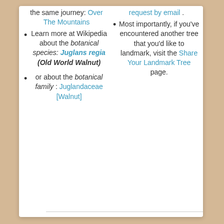the same journey: Over The Mountains
Learn more at Wikipedia about the botanical species: Juglans regia (Old World Walnut)
or about the botanical family : Juglandaceae [Walnut]
request by email .
Most importantly, if you've encountered another tree that you'd like to landmark, visit the Share Your Landmark Tree page.